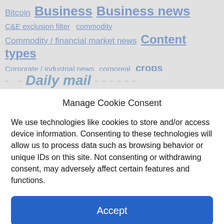Bitcoin  Business  Business news  C&E exclusion filter  commodity  Commodity / financial market news  Content types  Corporate / industrial news  corporeal  crops
Daily mail
Manage Cookie Consent
We use technologies like cookies to store and/or access device information. Consenting to these technologies will allow us to process data such as browsing behavior or unique IDs on this site. Not consenting or withdrawing consent, may adversely affect certain features and functions.
Accept
Cookie Policy